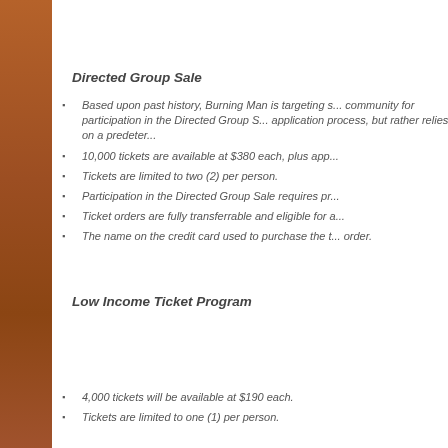Directed Group Sale
Based upon past history, Burning Man is targeting s... community for participation in the Directed Group S... application process, but rather relies on a predeter...
10,000 tickets are available at $380 each, plus app...
Tickets are limited to two (2) per person.
Participation in the Directed Group Sale requires pr...
Ticket orders are fully transferrable and eligible for...
The name on the credit card used to purchase the t... order.
Low Income Ticket Program
4,000 tickets will be available at $190 each.
Tickets are limited to one (1) per person.